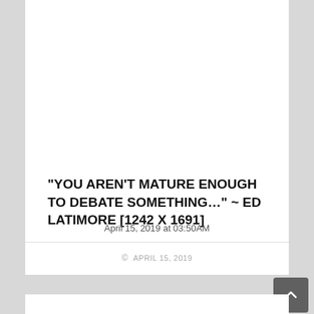“YOU AREN’T MATURE ENOUGH TO DEBATE SOMETHING…” ~ ED LATIMORE [1242 X 1691]
April 15, 2019 at 03:50AM
© APRIL 15, 2019